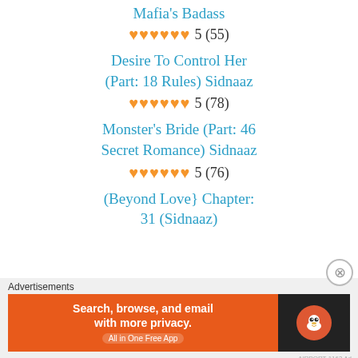Mafia's Badass
♥♥♥♥♥ 5 (55)
Desire To Control Her (Part: 18 Rules) Sidnaaz
♥♥♥♥♥ 5 (78)
Monster's Bride (Part: 46 Secret Romance) Sidnaaz
♥♥♥♥♥ 5 (76)
(Beyond Love} Chapter: 31 (Sidnaaz)
Advertisements
[Figure (other): DuckDuckGo advertisement banner: Search, browse, and email with more privacy. All in One Free App]
AIRPORT-1163 Ad